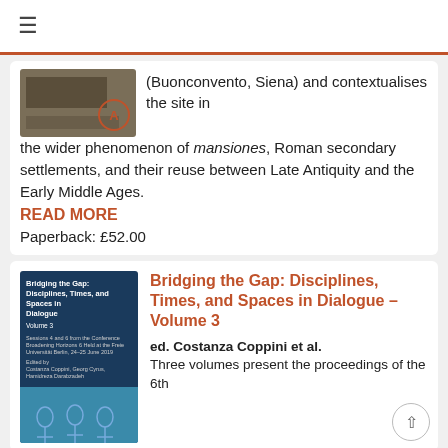≡
(Buonconvento, Siena) and contextualises the site in the wider phenomenon of mansiones, Roman secondary settlements, and their reuse between Late Antiquity and the Early Middle Ages.
READ MORE
Paperback: £52.00
Bridging the Gap: Disciplines, Times, and Spaces in Dialogue – Volume 3
ed. Costanza Coppini et al.
Three volumes present the proceedings of the 6th